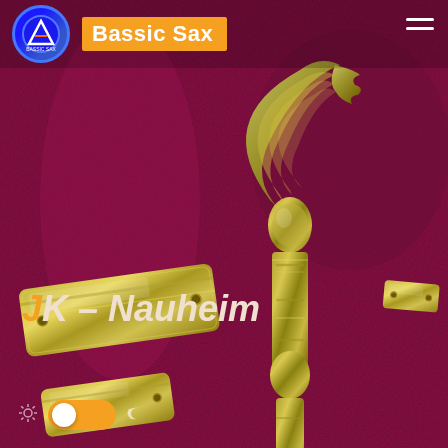[Figure (photo): Product photo of saxophone key parts and mechanisms laid out on a dark magenta/crimson textured background. Parts include rectangular key guards, a wing-shaped spatula key cluster, and other saxophone hardware, all in polished silver/bronze finish.]
Bassic Sax
JK – Nauheim
[Figure (other): Dark mode toggle switch in orange/on position, with sun icon on left and moon icon on right]